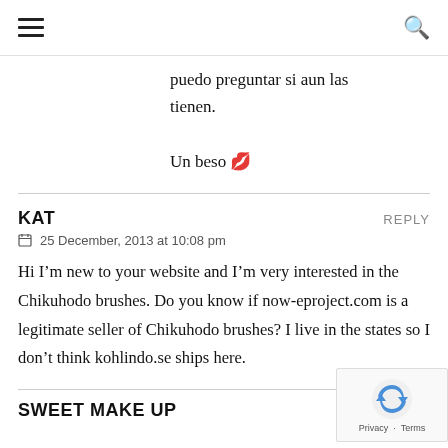≡  🔍
puedo preguntar si aun las tienen.

Un beso 💋
KAT
25 December, 2013 at 10:08 pm
Hi I'm new to your website and I'm very interested in the Chikuhodo brushes. Do you know if now-eproject.com is a legitimate seller of Chikuhodo brushes? I live in the states so I don't think kohlindo.se ships here.
SWEET MAKE UP
REPLY